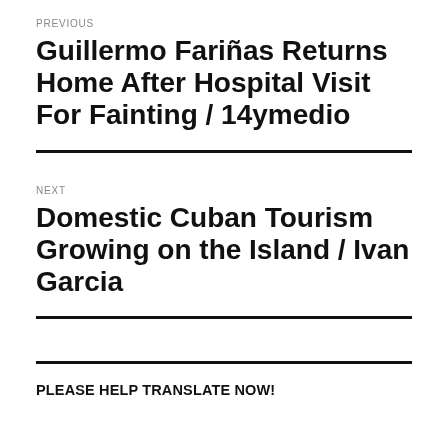PREVIOUS
Guillermo Fariñas Returns Home After Hospital Visit For Fainting / 14ymedio
NEXT
Domestic Cuban Tourism Growing on the Island / Ivan Garcia
PLEASE HELP TRANSLATE NOW!